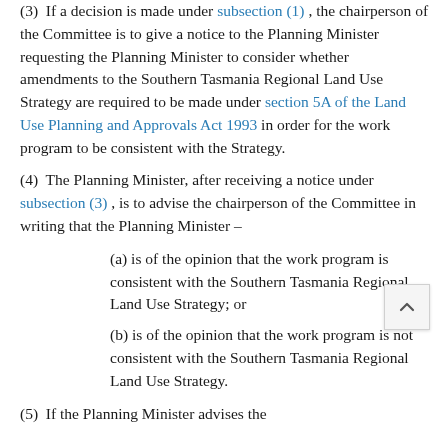(3)  If a decision is made under subsection (1), the chairperson of the Committee is to give a notice to the Planning Minister requesting the Planning Minister to consider whether amendments to the Southern Tasmania Regional Land Use Strategy are required to be made under section 5A of the Land Use Planning and Approvals Act 1993 in order for the work program to be consistent with the Strategy.
(4)  The Planning Minister, after receiving a notice under subsection (3), is to advise the chairperson of the Committee in writing that the Planning Minister –
(a) is of the opinion that the work program is consistent with the Southern Tasmania Regional Land Use Strategy; or
(b) is of the opinion that the work program is not consistent with the Southern Tasmania Regional Land Use Strategy.
(5)  If the Planning Minister advises the